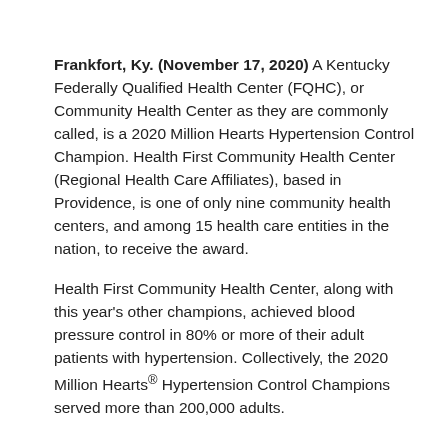Frankfort, Ky. (November 17, 2020) A Kentucky Federally Qualified Health Center (FQHC), or Community Health Center as they are commonly called, is a 2020 Million Hearts Hypertension Control Champion. Health First Community Health Center (Regional Health Care Affiliates), based in Providence, is one of only nine community health centers, and among 15 health care entities in the nation, to receive the award.
Health First Community Health Center, along with this year's other champions, achieved blood pressure control in 80% or more of their adult patients with hypertension. Collectively, the 2020 Million Hearts® Hypertension Control Champions served more than 200,000 adults.